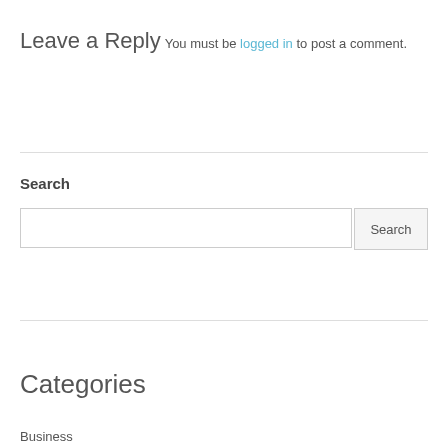Leave a Reply
You must be logged in to post a comment.
Search
Categories
Business
Property